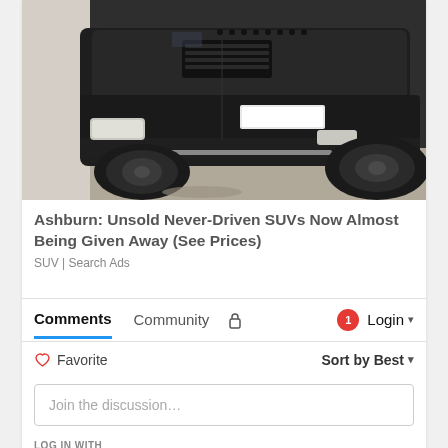[Figure (photo): Front view of a dark/black SUV (Land Rover Evoque style) parked on a concrete surface, shot from a low angle showing the front bumper and grille.]
Ashburn: Unsold Never-Driven SUVs Now Almost Being Given Away (See Prices)
SUV | Search Ads
Comments  Community  🔒  1  Login
♡ Favorite  Sort by Best
Join the discussion…
LOG IN WITH